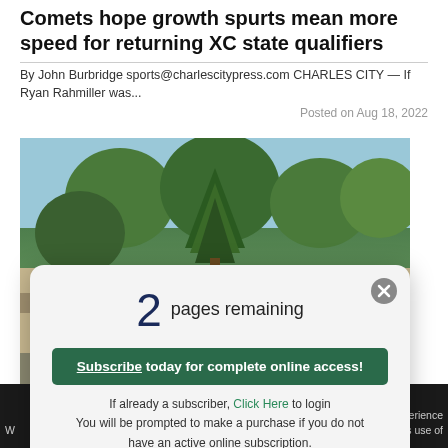Comets hope growth spurts mean more speed for returning XC state qualifiers
By John Burbridge sports@charlescitypress.com CHARLES CITY — If Ryan Rahmiller was...
Posted on Aug 18, 2022
[Figure (photo): Exterior photo of Rockford Eagle Rock Community School building with trees in foreground]
2 pages remaining
Subscribe today for complete online access!
If already a subscriber, Click Here to login
You will be prompted to make a purchase if you do not have an active online subscription.